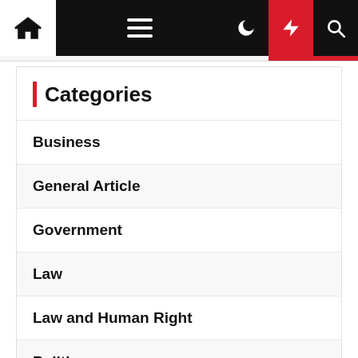Navigation bar with home, menu, moon, lightning, and search icons
Categories
Business
General Article
Government
Law
Law and Human Right
Politic
Society